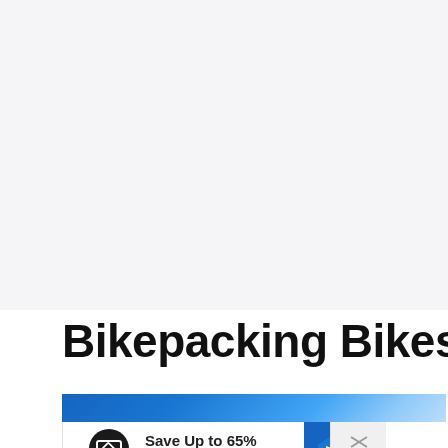[Figure (other): Large blank/white-gray area taking up top two-thirds of page, likely an image placeholder or article hero image area]
Bikepacking Bikes
[Figure (other): Advertisement banner: blue gradient header bar, then white ad body with black circular logo containing diamond shape, text 'Save Up to 65%' and 'Leesburg Premium Outlets', blue directional arrow icon, and close/X button with W icon]